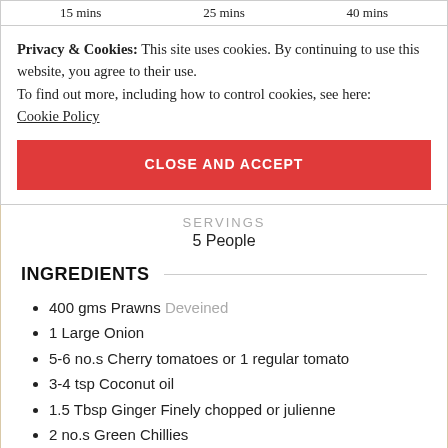15 mins    25 mins    40 mins
Privacy & Cookies: This site uses cookies. By continuing to use this website, you agree to their use.
To find out more, including how to control cookies, see here:
Cookie Policy
CLOSE AND ACCEPT
SERVINGS
5 People
INGREDIENTS
400 gms Prawns Deveined
1 Large Onion
5-6 no.s Cherry tomatoes or 1 regular tomato
3-4 tsp Coconut oil
1.5 Tbsp Ginger Finely chopped or julienne
2 no.s Green Chillies
1.5 cups Coconut Milk Thin